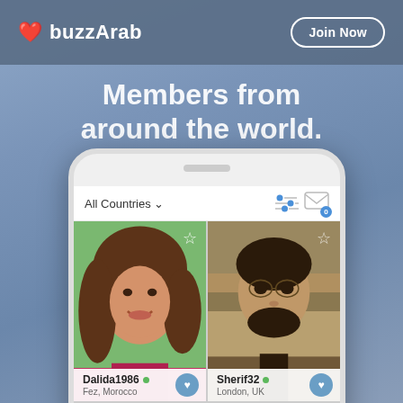buzzArab | Join Now
Members from around the world.
[Figure (screenshot): Mobile phone mockup showing the buzzArab dating app UI with profile member grid. Shows 'All Countries' filter dropdown with icons, and two profile cards: Dalida1986 from Fez, Morocco (female) and Sherif32 from London, UK (male), each with online indicator and heart button. Partial third row visible at bottom.]